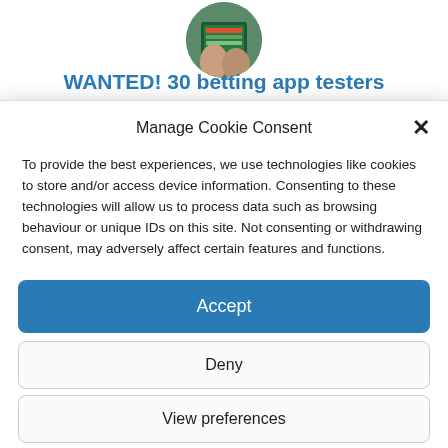[Figure (photo): Circular cropped photo of hands holding a tablet device showing a betting app interface with green background]
WANTED! 30 betting app testers
Manage Cookie Consent
To provide the best experiences, we use technologies like cookies to store and/or access device information. Consenting to these technologies will allow us to process data such as browsing behaviour or unique IDs on this site. Not consenting or withdrawing consent, may adversely affect certain features and functions.
Accept
Deny
View preferences